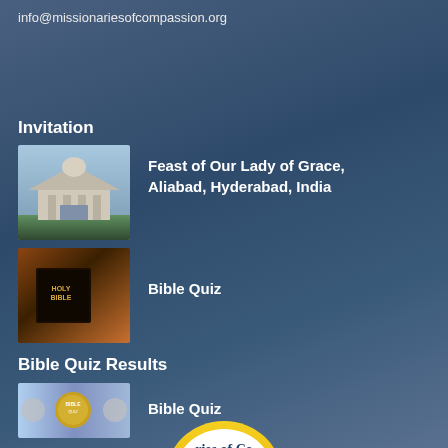info@missionariesofcompassion.org
Invitation
[Figure (photo): Photo of a church or temple building with columns and dome]
Feast of Our Lady of Grace, Aliabad, Hyderabad, India
[Figure (photo): Close-up photo of a Holy Bible book]
Bible Quiz
Bible Quiz Results
[Figure (photo): Bible Quiz promotional image with people and book]
Bible Quiz
[Figure (logo): Partial logo of Missionaries of Compassion organization]